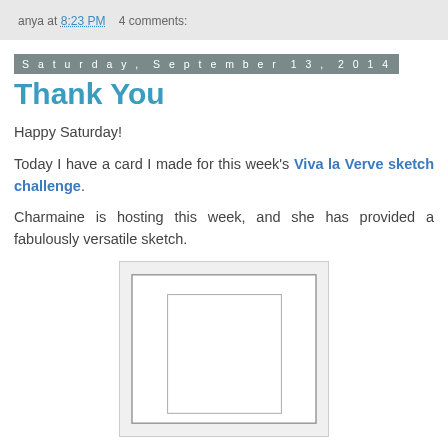anya at 8:23 PM    4 comments:
Saturday, September 13, 2014
Thank You
Happy Saturday!
Today I have a card I made for this week's Viva la Verve sketch challenge.
Charmaine is hosting this week, and she has provided a fabulously versatile sketch.
[Figure (illustration): Card sketch diagram showing nested rectangles: outer card border, inner panel rectangle centered on card]